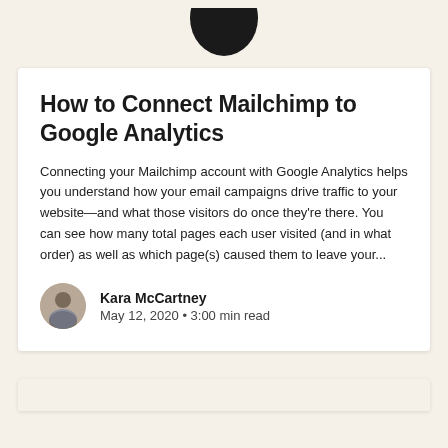[Figure (logo): Mailchimp logo (bottom portion of a circular chimp face icon on a cream/beige background)]
How to Connect Mailchimp to Google Analytics
Connecting your Mailchimp account with Google Analytics helps you understand how your email campaigns drive traffic to your website—and what those visitors do once they're there. You can see how many total pages each user visited (and in what order) as well as which page(s) caused them to leave your...
Kara McCartney
May 12, 2020 • 3:00 min read
[Figure (other): Partially visible bottom card with cream/beige background (peek of next content card)]